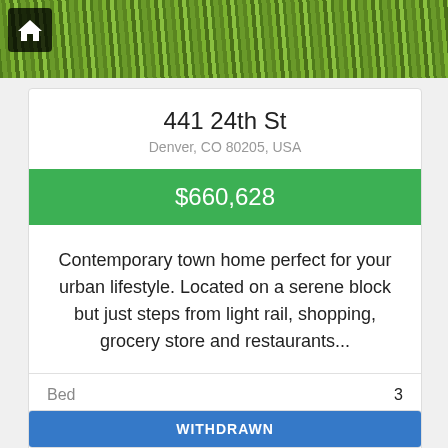[Figure (photo): Photo of property exterior showing grass/garden and iron gate]
441 24th St
Denver, CO 80205, USA
$660,628
Contemporary town home perfect for your urban lifestyle. Located on a serene block but just steps from light rail, shopping, grocery store and restaurants...
|  |  |
| --- | --- |
| Bed | 3 |
| Baths | 4 |
| Sq Ft | 2472 |
WITHDRAWN